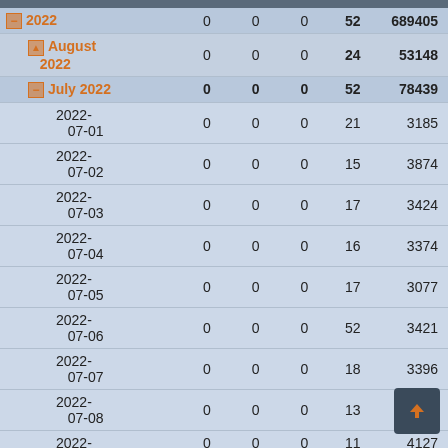| Date | Col1 | Col2 | Col3 | Col4 | Col5 |
| --- | --- | --- | --- | --- | --- |
| 2022 | 0 | 0 | 0 | 52 | 689405 |
| August 2022 | 0 | 0 | 0 | 24 | 53148 |
| July 2022 | 0 | 0 | 0 | 52 | 78439 |
| 2022-07-01 | 0 | 0 | 0 | 21 | 3185 |
| 2022-07-02 | 0 | 0 | 0 | 15 | 3874 |
| 2022-07-03 | 0 | 0 | 0 | 17 | 3424 |
| 2022-07-04 | 0 | 0 | 0 | 16 | 3374 |
| 2022-07-05 | 0 | 0 | 0 | 17 | 3077 |
| 2022-07-06 | 0 | 0 | 0 | 52 | 3421 |
| 2022-07-07 | 0 | 0 | 0 | 18 | 3396 |
| 2022-07-08 | 0 | 0 | 0 | 13 | 2872 |
| 2022- | 0 | 0 | 0 | 11 | 4127 |